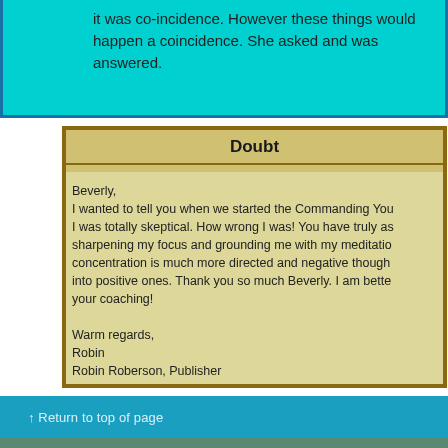it was co-incidence. However these things would happen a coincidence. She asked and was answered.
Doubt
Beverly,
I wanted to tell you when we started the Commanding You I was totally skeptical. How wrong I was! You have truly as sharpening my focus and grounding me with my meditatio concentration is much more directed and negative though into positive ones. Thank you so much Beverly. I am bette your coaching!

Warm regards,
Robin
Robin Roberson, Publisher
www.boomerbuzzmagazine.com
↑ Return to top of page